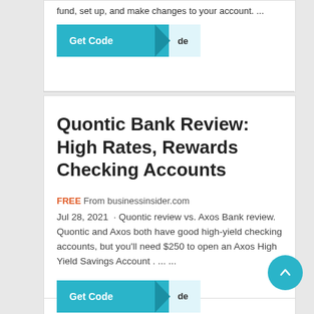fund, set up, and make changes to your account. ...
[Figure (other): Teal 'Get Code' button with arrow and partial code reveal]
Quontic Bank Review: High Rates, Rewards Checking Accounts
FREE From businessinsider.com
Jul 28, 2021 · Quontic review vs. Axos Bank review. Quontic and Axos both have good high-yield checking accounts, but you'll need $250 to open an Axos High Yield Savings Account . ... ...
[Figure (other): Teal 'Get Code' button with arrow and partial code reveal]
[Figure (other): Scroll-to-top circular button with upward arrow]